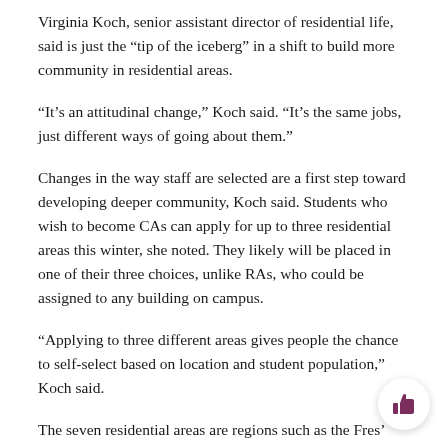Virginia Koch, senior assistant director of residential life, said is just the “tip of the iceberg” in a shift to build more community in residential areas.
“It’s an attitudinal change,” Koch said. “It’s the same jobs, just different ways of going about them.”
Changes in the way staff are selected are a first step toward developing deeper community, Koch said. Students who wish to become CAs can apply for up to three residential areas this winter, she noted. They likely will be placed in one of their three choices, unlike RAs, who could be assigned to any building on campus.
“Applying to three different areas gives people the chance to self-select based on location and student population,” Koch said.
The seven residential areas are regions such as the Fres’ Quad. Applicants cannot apply to live in specific buildings